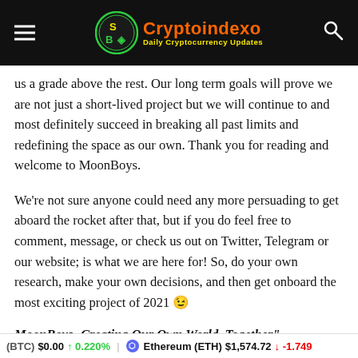Cryptoindexo – Daily Cryptocurrency Updates
us a grade above the rest. Our long term goals will prove we are not just a short-lived project but we will continue to and most definitely succeed in breaking all past limits and redefining the space as our own. Thank you for reading and welcome to MoonBoys.
We're not sure anyone could need any more persuading to get aboard the rocket after that, but if you do feel free to comment, message, or check us out on Twitter, Telegram or our website; is what we are here for! So, do your own research, make your own decisions, and then get onboard the most exciting project of 2021 😉
MoonBoys- Creating Our Own World, Together"
(BTC) $0.00 ↑ 0.220% Ethereum (ETH) $1,574.72 ↓ -1.749%